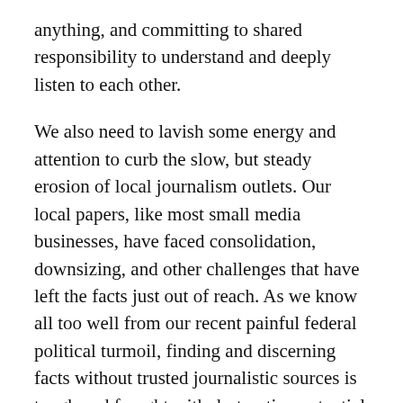anything, and committing to shared responsibility to understand and deeply listen to each other.
We also need to lavish some energy and attention to curb the slow, but steady erosion of local journalism outlets. Our local papers, like most small media businesses, have faced consolidation, downsizing, and other challenges that have left the facts just out of reach. As we know all too well from our recent painful federal political turmoil, finding and discerning facts without trusted journalistic sources is tough and fraught with destructive potential for a media diet that only serves to deepen the sense of the “otherness” of our neighbors.
Where do we go from here? Build in time for self-reflection and mindfulness – we happen to have a local expert or two on that subject in Shalini Bahl-Milne. Reach out to write and share with your local